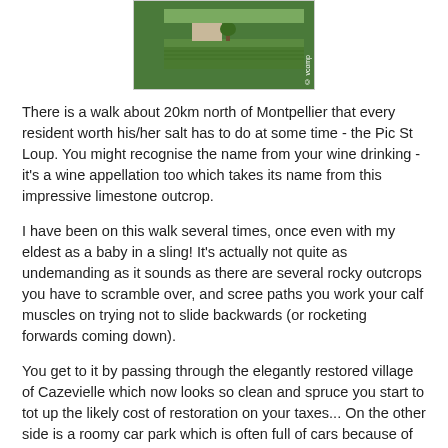[Figure (photo): Photograph of a rural French landscape with a stone farmhouse and green fields, with a watermark reading 'vcomp' on the right side]
There is a walk about 20km north of Montpellier that every resident worth his/her salt has to do at some time - the Pic St Loup. You might recognise the name from your wine drinking - it's a wine appellation too which takes its name from this impressive limestone outcrop.
I have been on this walk several times, once even with my eldest as a baby in a sling! It's actually not quite as undemanding as it sounds as there are several rocky outcrops you have to scramble over, and scree paths you work your calf muscles on trying not to slide backwards (or rocketing forwards coming down).
You get to it by passing through the elegantly restored village of Cazevielle which now looks so clean and spruce you start to tot up the likely cost of restoration on your taxes... On the other side is a roomy car park which is often full of cars because of the popularity of this walk. I've seen grannies on